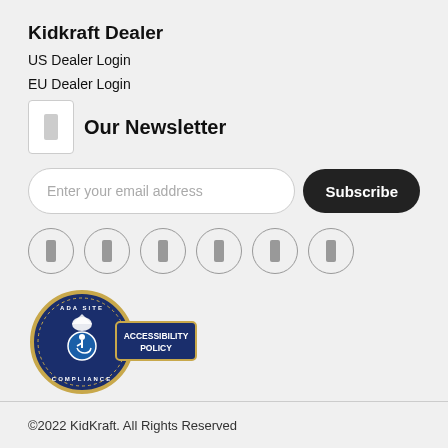Kidkraft Dealer
US Dealer Login
EU Dealer Login
Our Newsletter
Enter your email address
Subscribe
[Figure (logo): ADA Site Compliance badge with Accessibility Policy label]
©2022 KidKraft. All Rights Reserved